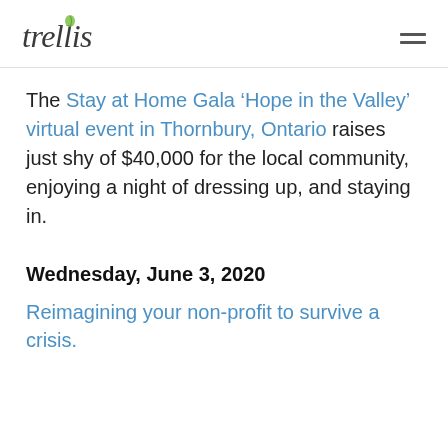trellis
The Stay at Home Gala ‘Hope in the Valley’ virtual event in Thornbury, Ontario raises just shy of $40,000 for the local community, enjoying a night of dressing up, and staying in.
Wednesday, June 3, 2020
Reimagining your non-profit to survive a crisis.